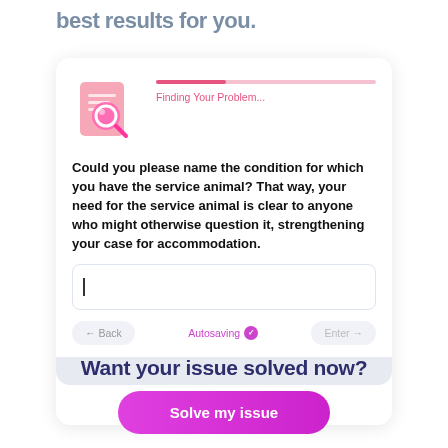best results for you.
[Figure (screenshot): A form UI card with a pink/magenta search illustration icon on the left, a progress bar labeled 'Finding Your Problem...', and a question asking to name the condition for the service animal, with a text input field and Back/Autosaving/Enter navigation.]
Want your issue solved now?
Solve my issue